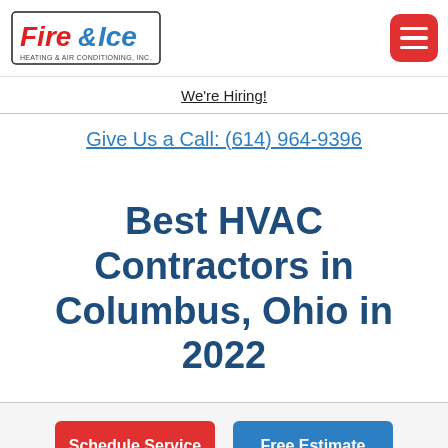[Figure (logo): Fire & Ice Heating & Air Conditioning, Inc. logo with stylized fire and ice text in red and blue]
We're Hiring!
Give Us a Call: (614) 964-9396
Best HVAC Contractors in Columbus, Ohio in 2022
Schedule Service
Free Estimate